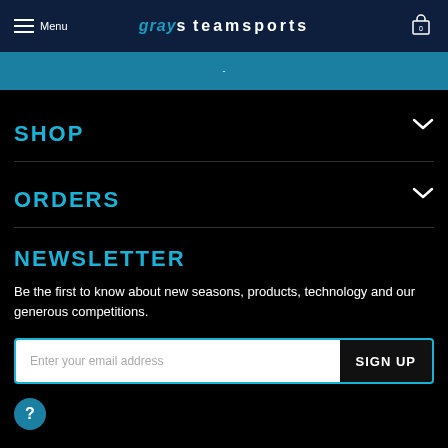Grays Teamsports
-
SHOP
ORDERS
NEWSLETTER
Be the first to know about new seasons, products, technology and our generous competitions.
Enter your email address  SIGN UP